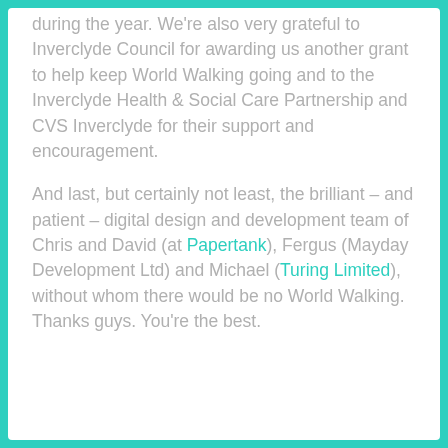during the year. We're also very grateful to Inverclyde Council for awarding us another grant to help keep World Walking going and to the Inverclyde Health & Social Care Partnership and CVS Inverclyde for their support and encouragement.

And last, but certainly not least, the brilliant – and patient – digital design and development team of Chris and David (at Papertank), Fergus (Mayday Development Ltd) and Michael (Turing Limited), without whom there would be no World Walking. Thanks guys. You're the best.